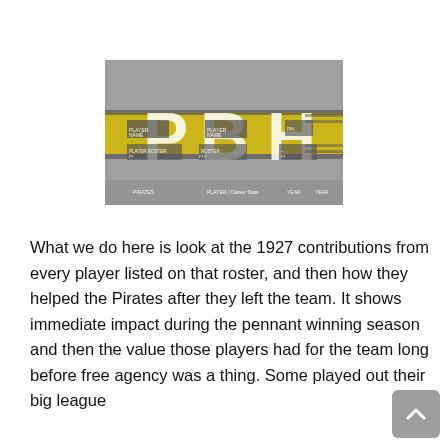[Figure (logo): PBH logo on a gray background with yellow/gold horizontal stripe bands and large white block letters P, B, H overlaid on a gray background with small text elements.]
What we do here is look at the 1927 contributions from every player listed on that roster, and then how they helped the Pirates after they left the team. It shows immediate impact during the pennant winning season and then the value those players had for the team long before free agency was a thing. Some played out their big league